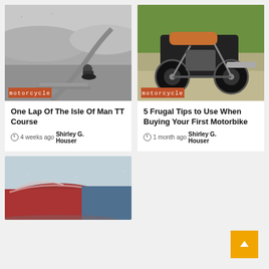[Figure (photo): Black and white photo of a motorcyclist on a road with hilly landscape]
motorcycle
One Lap Of The Isle Of Man TT Course
4 weeks ago  Shirley G. Houser
[Figure (photo): Color photo of a BMW adventure motorcycle parked outdoors]
motorcycle
5 Frugal Tips to Use When Buying Your First Motorbike
1 month ago  Shirley G. Houser
[Figure (photo): Color photo of classic vintage cars, partially cropped at bottom of page]